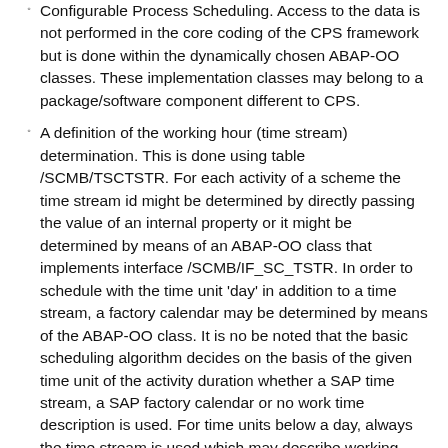Configurable Process Scheduling. Access to the data is not performed in the core coding of the CPS framework but is done within the dynamically chosen ABAP-OO classes. These implementation classes may belong to a package/software component different to CPS.
A definition of the working hour (time stream) determination. This is done using table /SCMB/TSCTSTR. For each activity of a scheme the time stream id might be determined by directly passing the value of an internal property or it might be determined by means of an ABAP-OO class that implements interface /SCMB/IF_SC_TSTR. In order to schedule with the time unit 'day' in addition to a time stream, a factory calendar may be determined by means of the ABAP-OO class. It is no be noted that the basic scheduling algorithm decides on the basis of the given time unit of the activity duration whether a SAP time stream, a SAP factory calendar or no work time description is used. For time units below a day, always the time stream is used which may describe working hours with a precision of a second. In case of an activity duration time unit of a day, a SAP factory calendar is used. In case of duration time units greater than a day, like a week or a month, no work time description is used. The value of a property may consist of a time stream ID concatenated by a factory calendar ID. A